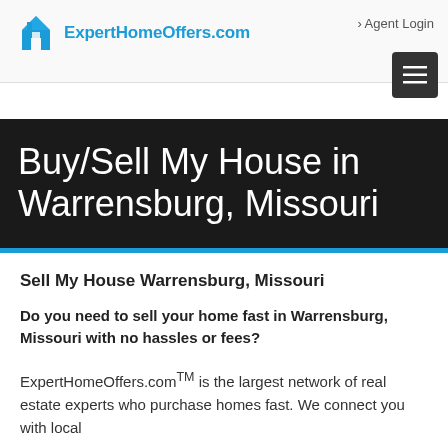ExpertHomeOffers.com   › Agent Login
[Figure (logo): ExpertHomeOffers.com logo with house icon in blue]
Buy/Sell My House in Warrensburg, Missouri
Sell My House Warrensburg, Missouri
Do you need to sell your home fast in Warrensburg, Missouri with no hassles or fees?
ExpertHomeOffers.com™ is the largest network of real estate experts who purchase homes fast. We connect you with local